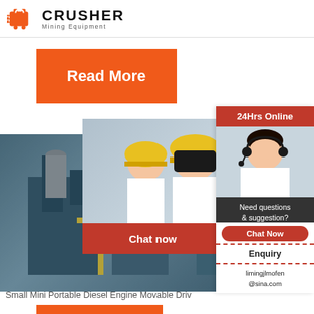[Figure (logo): Crusher Mining Equipment logo with red shopping bag icon and bold CRUSHER text]
[Figure (infographic): Orange Read More button]
[Figure (infographic): Live chat popup overlay with workers in hard hats, Chat now and Chat later buttons]
[Figure (photo): Factory/industrial equipment photo on left side]
[Figure (infographic): 24Hrs Online side panel with female customer service representative, Need questions & suggestion? Chat Now, Enquiry, limingjlmofen@sina.com]
crush
Aliba
Small Mini Portable Diesel Engine Movable Driv
[Figure (infographic): Orange Read More button at bottom]